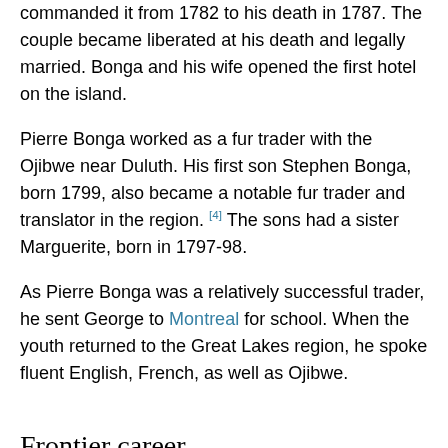commanded it from 1782 to his death in 1787. The couple became liberated at his death and legally married. Bonga and his wife opened the first hotel on the island.
Pierre Bonga worked as a fur trader with the Ojibwe near Duluth. His first son Stephen Bonga, born 1799, also became a notable fur trader and translator in the region. [4] The sons had a sister Marguerite, born in 1797-98.
As Pierre Bonga was a relatively successful trader, he sent George to Montreal for school. When the youth returned to the Great Lakes region, he spoke fluent English, French, as well as Ojibwe.
Frontier career
Bonga followed in his father's footsteps and became a fur trader with the American Fur Company. In this role, Bonga drew the attention of Lewis Cass, who hired him as a guide and as a translator for the government's negotiations with the Ojibwe. Bonga's signature is on